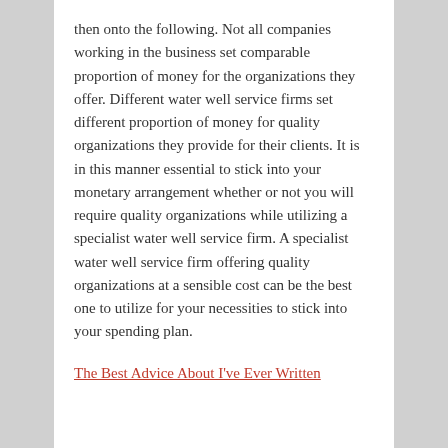then onto the following. Not all companies working in the business set comparable proportion of money for the organizations they offer. Different water well service firms set different proportion of money for quality organizations they provide for their clients. It is in this manner essential to stick into your monetary arrangement whether or not you will require quality organizations while utilizing a specialist water well service firm. A specialist water well service firm offering quality organizations at a sensible cost can be the best one to utilize for your necessities to stick into your spending plan.
The Best Advice About I've Ever Written